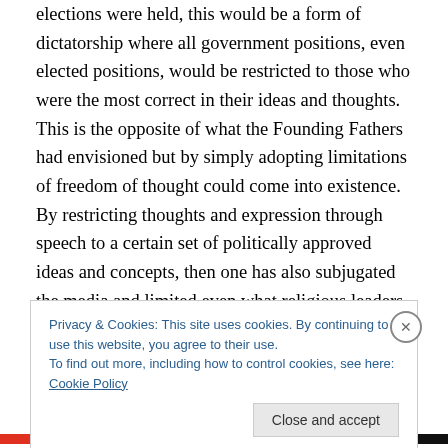elections were held, this would be a form of dictatorship where all government positions, even elected positions, would be restricted to those who were the most correct in their ideas and thoughts. This is the opposite of what the Founding Fathers had envisioned but by simply adopting limitations of freedom of thought could come into existence. By restricting thoughts and expression through speech to a certain set of politically approved ideas and concepts, then one has also subjugated the media and limited even what religious leaders would be permitted to preach. From that point, it would be a short jump before
Privacy & Cookies: This site uses cookies. By continuing to use this website, you agree to their use.
To find out more, including how to control cookies, see here: Cookie Policy